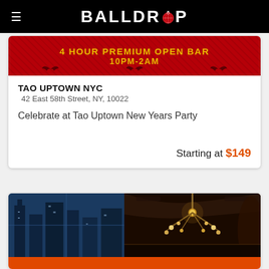BALLDROP
[Figure (photo): Red banner image with gold text reading '4 HOUR PREMIUM OPEN BAR 10PM-2AM' with decorative black bat/bird silhouettes]
TAO UPTOWN NYC
42 East 58th Street, NY, 10022
Celebrate at Tao Uptown New Years Party
Starting at $149
[Figure (photo): Interior photo of an upscale venue showing a decorative chandelier with globe lights, dark wood decor, and city views through blue-tinted windows on the left side]